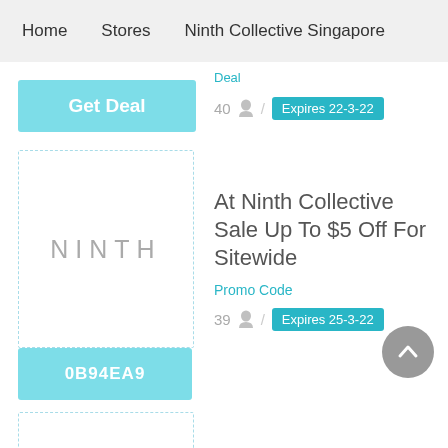Home   Stores   Ninth Collective Singapore
Deal
[Figure (other): Get Deal button - cyan/turquoise background with white bold text]
40 / Expires 22-3-22
[Figure (logo): Ninth Collective logo - NINTH in spaced gray letters inside dashed border box]
At Ninth Collective Sale Up To $5 Off For Sitewide
Promo Code
39 / Expires 25-3-22
[Figure (other): Promo code button showing 0B94EA9 in cyan/turquoise background]
[Figure (other): Partial third deal card with dashed border - content not visible]